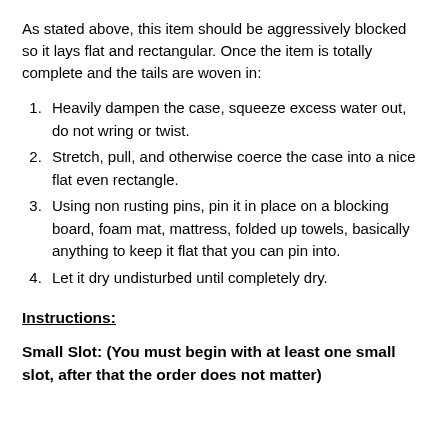As stated above, this item should be aggressively blocked so it lays flat and rectangular. Once the item is totally complete and the tails are woven in:
Heavily dampen the case, squeeze excess water out, do not wring or twist.
Stretch, pull, and otherwise coerce the case into a nice flat even rectangle.
Using non rusting pins, pin it in place on a blocking board, foam mat, mattress, folded up towels, basically anything to keep it flat that you can pin into.
Let it dry undisturbed until completely dry.
Instructions:
Small Slot: (You must begin with at least one small slot, after that the order does not matter)